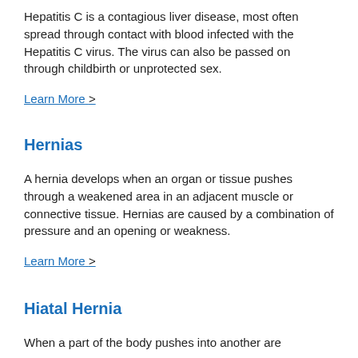Hepatitis C is a contagious liver disease, most often spread through contact with blood infected with the Hepatitis C virus. The virus can also be passed on through childbirth or unprotected sex.
Learn More >
Hernias
A hernia develops when an organ or tissue pushes through a weakened area in an adjacent muscle or connective tissue. Hernias are caused by a combination of pressure and an opening or weakness.
Learn More >
Hiatal Hernia
When a part of the body pushes into another are